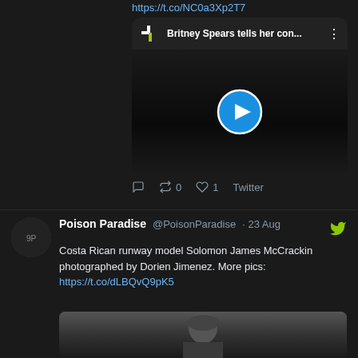https://t.co/NC0a3Xp2T7
[Figure (screenshot): Video card embed showing Britney Spears article/video with play button. Header shows Pp logo and title 'Britney Spears tells her con...' with three-dot menu.]
0  0  1  Twitter
Poison Paradise @PoisonParadise · 23 Aug
Costa Rican runway model Solomon James McCrackin photographed by Dorien Jimenez. More pics: https://t.co/dLBQvQ9pK5
[Figure (photo): Black and white photo preview of a male model (Solomon James McCrackin), showing head and upper torso with dark hair.]